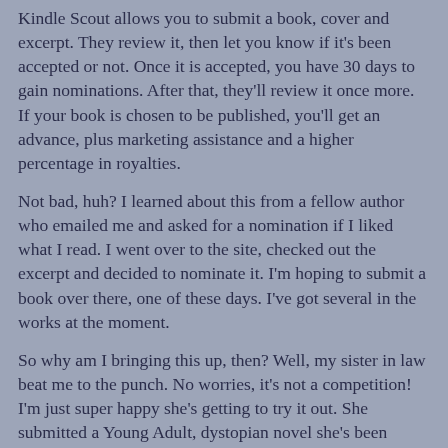Kindle Scout allows you to submit a book, cover and excerpt. They review it, then let you know if it's been accepted or not. Once it is accepted, you have 30 days to gain nominations. After that, they'll review it once more. If your book is chosen to be published, you'll get an advance, plus marketing assistance and a higher percentage in royalties.
Not bad, huh? I learned about this from a fellow author who emailed me and asked for a nomination if I liked what I read. I went over to the site, checked out the excerpt and decided to nominate it. I'm hoping to submit a book over there, one of these days. I've got several in the works at the moment.
So why am I bringing this up, then? Well, my sister in law beat me to the punch. No worries, it's not a competition! I'm just super happy she's getting to try it out. She submitted a Young Adult, dystopian novel she's been working on. She had it all ready, with a cover and everything, when I told her about this program. So she submitted it and got accepted!
I'd like for anyone, who hasn't yet seen it, to go check it out. Read the excerpt and, if you're interested, nominate it. The